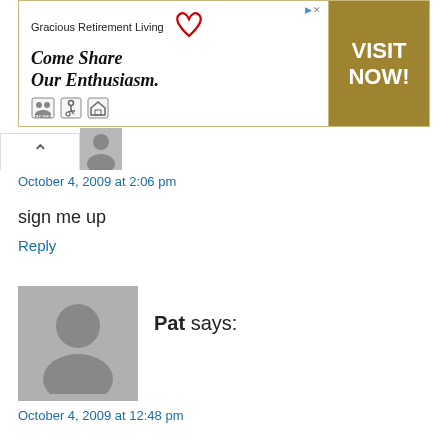[Figure (other): Advertisement banner for Gracious Retirement Living with tagline 'Come Share Our Enthusiasm.' and a gold 'VISIT NOW!' call-to-action button]
October 4, 2009 at 2:06 pm
sign me up
Reply
Pat says:
October 4, 2009 at 12:48 pm
We prefer to travel by plane, especially for any distances beyond a four hour car ride otherwise someone in the family is bound to be sick or upset.